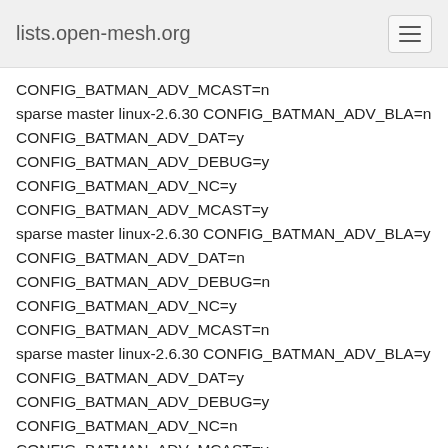lists.open-mesh.org
CONFIG_BATMAN_ADV_MCAST=n
sparse master linux-2.6.30 CONFIG_BATMAN_ADV_BLA=n
CONFIG_BATMAN_ADV_DAT=y
CONFIG_BATMAN_ADV_DEBUG=y
CONFIG_BATMAN_ADV_NC=y
CONFIG_BATMAN_ADV_MCAST=y
sparse master linux-2.6.30 CONFIG_BATMAN_ADV_BLA=y
CONFIG_BATMAN_ADV_DAT=n
CONFIG_BATMAN_ADV_DEBUG=n
CONFIG_BATMAN_ADV_NC=y
CONFIG_BATMAN_ADV_MCAST=n
sparse master linux-2.6.30 CONFIG_BATMAN_ADV_BLA=y
CONFIG_BATMAN_ADV_DAT=y
CONFIG_BATMAN_ADV_DEBUG=y
CONFIG_BATMAN_ADV_NC=n
CONFIG_BATMAN_ADV_MCAST=y
sparse master linux-2.6.31 CONFIG_BATMAN_ADV_BLA=n
CONFIG_BATMAN_ADV_DAT=y
CONFIG_BATMAN_ADV_DEBUG=n
CONFIG_BATMAN_ADV_NC=y